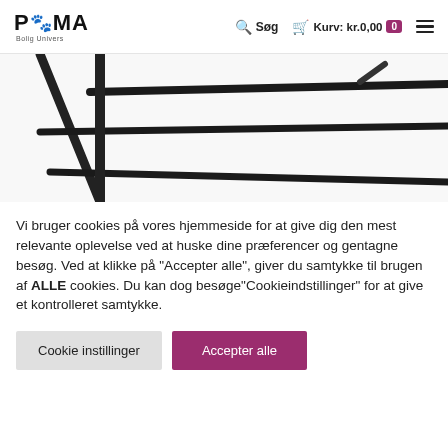PUMA Bolig Univers – Søg | Kurv: kr.0,00 0 ☰
[Figure (photo): Close-up product photo of black metal wire/frame furniture structure against white background, showing diagonal and horizontal black metal rods.]
Vi bruger cookies på vores hjemmeside for at give dig den mest relevante oplevelse ved at huske dine præferencer og gentagne besøg. Ved at klikke på "Accepter alle", giver du samtykke til brugen af ALLE cookies. Du kan dog besøge"Cookieindstillinger" for at give et kontrolleret samtykke.
Cookie instillinger
Accepter alle